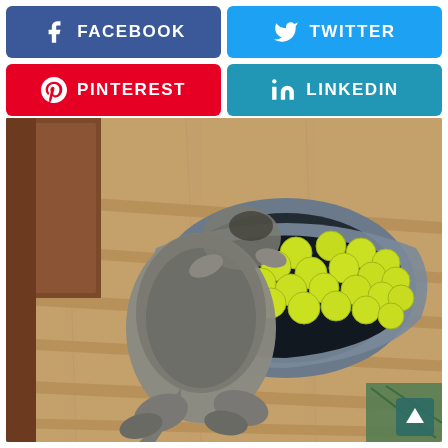[Figure (other): Facebook share button - blue rounded rectangle with Facebook 'f' icon and text FACEBOOK]
[Figure (other): Twitter share button - light blue rounded rectangle with Twitter bird icon and text TWITTER]
[Figure (other): Pinterest share button - red rounded rectangle with Pinterest 'P' icon and text PINTEREST]
[Figure (other): LinkedIn share button - blue rounded rectangle with LinkedIn 'in' icon and text LINKEDIN]
[Figure (photo): A dog (appears to be a husky or similar breed) lying on a wooden floor with its front paws and head inside a grey dog bed filled with many yellow-green tennis balls. The dog is viewed from behind. Background shows wooden floor and a wooden cabinet or furniture piece.]